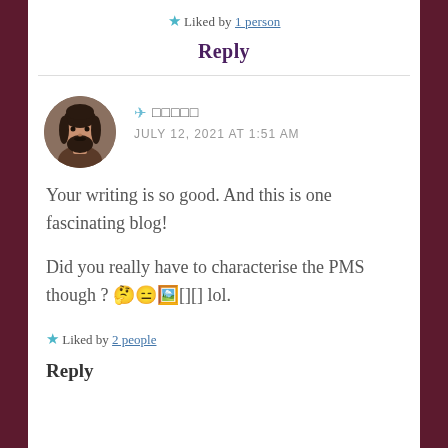★ Liked by 1 person
Reply
[Figure (photo): Circular avatar photo of a man with long dark hair and beard]
✈ □□□□□
JULY 12, 2021 AT 1:51 AM
Your writing is so good. And this is one fascinating blog!
Did you really have to characterise the PMS though ? 🤔😑🖼️[][] lol.
★ Liked by 2 people
Reply